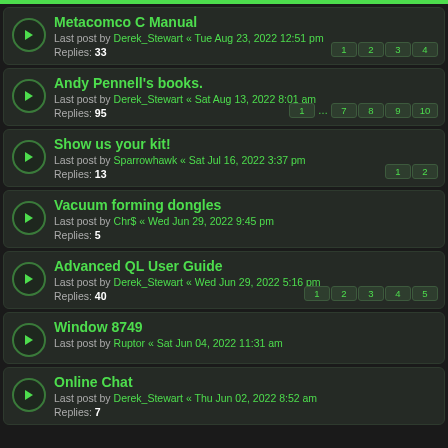Metacomco C Manual
Last post by Derek_Stewart « Tue Aug 23, 2022 12:51 pm
Replies: 33
Pages: 1 2 3 4
Andy Pennell's books.
Last post by Derek_Stewart « Sat Aug 13, 2022 8:01 am
Replies: 95
Pages: 1 ... 7 8 9 10
Show us your kit!
Last post by Sparrowhawk « Sat Jul 16, 2022 3:37 pm
Replies: 13
Pages: 1 2
Vacuum forming dongles
Last post by Chr$ « Wed Jun 29, 2022 9:45 pm
Replies: 5
Advanced QL User Guide
Last post by Derek_Stewart « Wed Jun 29, 2022 5:16 pm
Replies: 40
Pages: 1 2 3 4 5
Window 8749
Last post by Ruptor « Sat Jun 04, 2022 11:31 am
Online Chat
Last post by Derek_Stewart « Thu Jun 02, 2022 8:52 am
Replies: 7